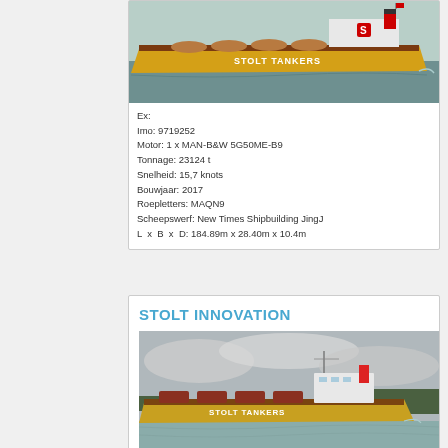[Figure (photo): Yellow Stolt Tankers ship on water, top card]
Ex:
Imo: 9719252
Motor: 1 x MAN-B&W 5G50ME-B9
Tonnage: 23124 t
Snelheid: 15,7 knots
Bouwjaar: 2017
Roepletters: MAQN9
Scheepswerf: New Times Shipbuilding Jing
L x B x D: 184.89m x 28.40m x 10.4m
STOLT INNOVATION
[Figure (photo): Stolt Tankers ship on cloudy river, bottom card]